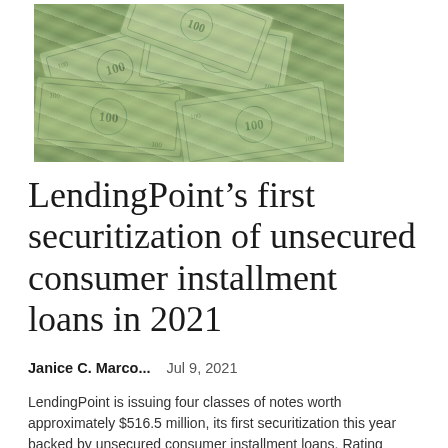[Figure (photo): Pile of US $100 dollar bills scattered and overlapping]
LendingPoint’s first securitization of unsecured consumer installment loans in 2021
Janice C. Marco...    Jul 9, 2021
LendingPoint is issuing four classes of notes worth approximately $516.5 million, its first securitization this year backed by unsecured consumer installment loans. Rating agency Kroll Bond Rating Agency (KBRA) has assigned preliminary…